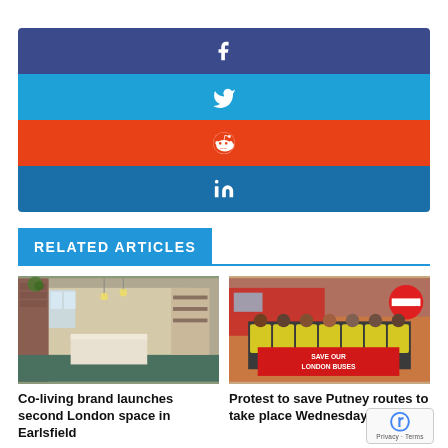[Figure (infographic): Social share buttons: Facebook (dark blue), Twitter (light blue), Reddit (red-orange), LinkedIn (medium blue), each as a full-width colored bar with centered white icon]
RELATED ARTICLES
[Figure (photo): Interior of a co-living or co-working space with kitchen island, shelving, brick walls and plants]
Co-living brand launches second London space in Earlsfield
[Figure (photo): Group of workers in yellow hi-vis vests holding a red banner reading SAVE OUR LONDON BUSES]
Protest to save Putney routes to take place Wednesday